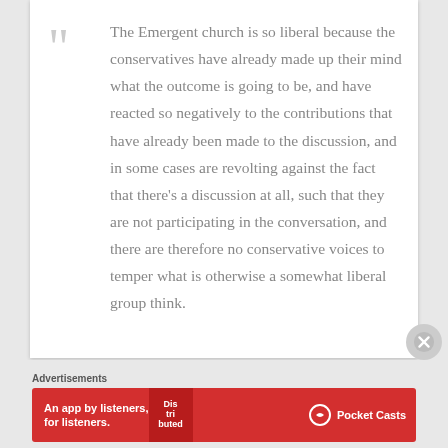The Emergent church is so liberal because the conservatives have already made up their mind what the outcome is going to be, and have reacted so negatively to the contributions that have already been made to the discussion, and in some cases are revolting against the fact that there's a discussion at all, such that they are not participating in the conversation, and there are therefore no conservative voices to temper what is otherwise a somewhat liberal group think.
Advertisements
[Figure (photo): Red advertisement banner for Pocket Casts app reading 'An app by listeners, for listeners.' with a phone image and Pocket Casts logo]